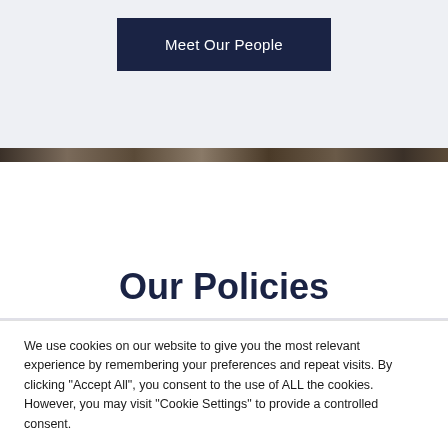[Figure (other): Dark navy blue button labeled 'Meet Our People' on a light gray background section]
[Figure (photo): A thin horizontal photo strip showing a blurred group of people]
Our Policies
We use cookies on our website to give you the most relevant experience by remembering your preferences and repeat visits. By clicking "Accept All", you consent to the use of ALL the cookies. However, you may visit "Cookie Settings" to provide a controlled consent.
Cookie Settings | Accept All